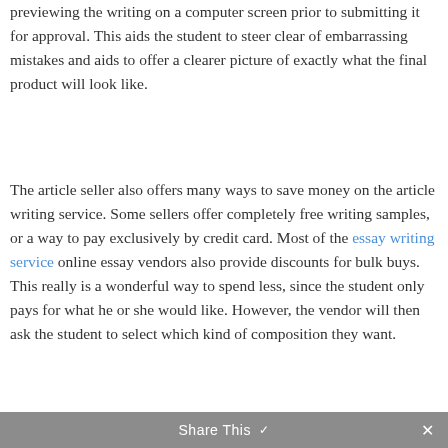previewing the writing on a computer screen prior to submitting it for approval. This aids the student to steer clear of embarrassing mistakes and aids to offer a clearer picture of exactly what the final product will look like.
The article seller also offers many ways to save money on the article writing service. Some sellers offer completely free writing samples, or a way to pay exclusively by credit card. Most of the essay writing service online essay vendors also provide discounts for bulk buys. This really is a wonderful way to spend less, since the student only pays for what he or she would like. However, the vendor will then ask the student to select which kind of composition they want.
Share This